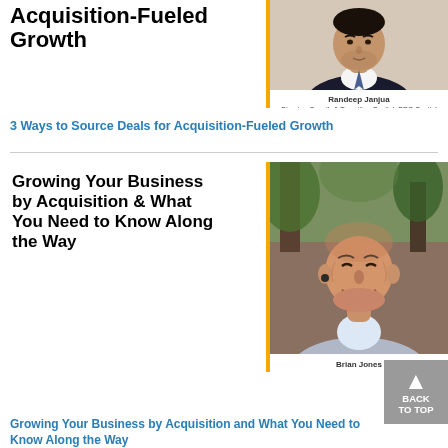Acquisition-Fueled Growth
[Figure (photo): Headshot of Randeep Janjua in a suit with a tie, yellow border on left side]
Randeep Janjua
Director, Growth & Transition Capital, BDC Capital Vancouver
3 Ways to Source Deals for Acquisition-Fueled Growth
Growing Your Business by Acquisition & What You Need to Know Along the Way
[Figure (photo): Headshot of Brian Jones smiling, outdoors background, yellow border on left side]
Brian Jones
CEO, HCI Filtration Inc.
Growing Your Business by Acquisition and What You Need to Know Along the Way